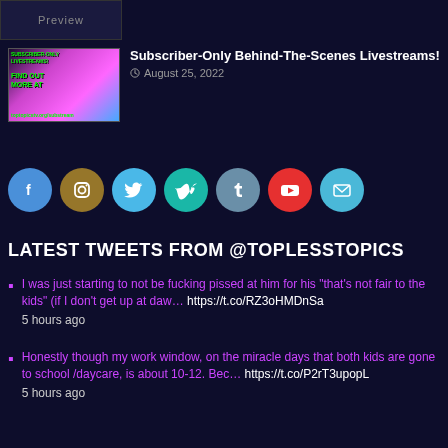[Figure (screenshot): Preview box at top left]
[Figure (screenshot): Subscriber-Only Behind-The-Scenes Livestreams thumbnail with pink/purple background and text overlays]
Subscriber-Only Behind-The-Scenes Livestreams!
August 25, 2022
[Figure (infographic): Row of 7 social media icon circles: Facebook (blue), Instagram (brown), Twitter (light blue), Vimeo (teal), Tumblr (slate), YouTube (red), Email (light blue)]
LATEST TWEETS FROM @TOPLESSTOPICS
I was just starting to not be fucking pissed at him for his "that's not fair to the kids" (if I don't get up at daw… https://t.co/RZ3oHMDnSa
5 hours ago
Honestly though my work window, on the miracle days that both kids are gone to school /daycare, is about 10-12. Bec… https://t.co/P2rT3upopL
5 hours ago